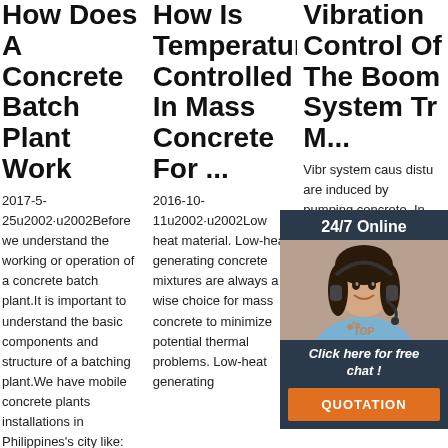How Does A Concrete Batch Plant Work
2017-5-25u2002·u2002Before we understand the working or operation of a concrete batch plant.It is important to understand the basic components and structure of a batching plant.We have mobile concrete plants installations in Philippines's city like:
How Is Temperature Controlled In Mass Concrete For ...
2016-10-11u2002·u2002Low heat material. Low-heat generating concrete mixtures are always a wise choice for mass concrete to minimize potential thermal problems. Low-heat generating
Vibration Control Of The Boom System Tr M...
Vibration system caus distu are induced by pumping concrete. In this paper, an active control strategy of constant-position commandless input
[Figure (other): Chat widget overlay with woman wearing headset, '24/7 Online' header, 'Click here for free chat!' text, and orange QUOTATION button]